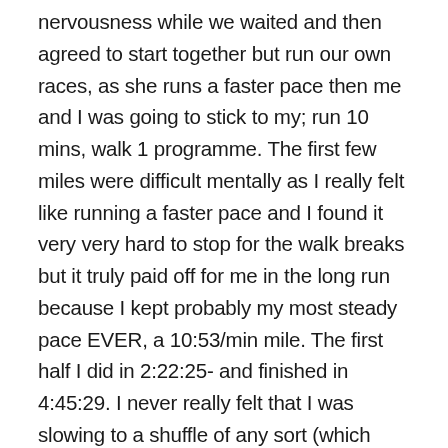nervousness while we waited and then agreed to start together but run our own races, as she runs a faster pace then me and I was going to stick to my; run 10 mins, walk 1 programme. The first few miles were difficult mentally as I really felt like running a faster pace and I found it very very hard to stop for the walk breaks but it truly paid off for me in the long run because I kept probably my most steady pace EVER, a 10:53/min mile. The first half I did in 2:22:25- and finished in 4:45:29. I never really felt that I was slowing to a shuffle of any sort (which usually happened on long runs) although there were a few miles, like at the start and then again at miles 17 and 18 that I felt like I had a burst of energy. My knees started threatening to "go" on me at around miles 8 and 9 but quieted down miraculously- except for mile 21 when I got one big jolt of pain like a thunderbolt in my left knee- I thought